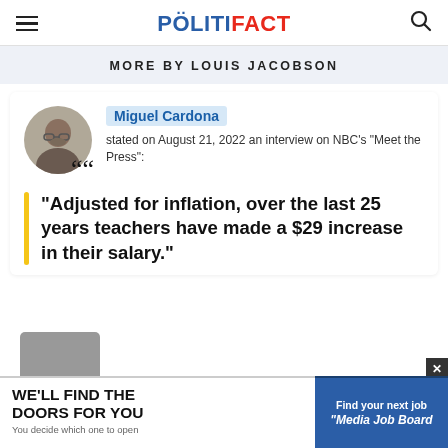POLITIFACT
MORE BY LOUIS JACOBSON
Miguel Cardona stated on August 21, 2022 an interview on NBC's "Meet the Press":
"Adjusted for inflation, over the last 25 years teachers have made a $29 increase in their salary."